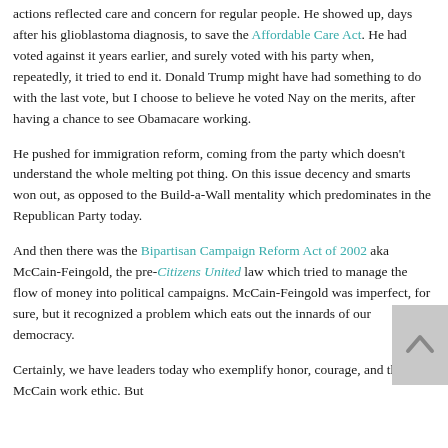actions reflected care and concern for regular people. He showed up, days after his glioblastoma diagnosis, to save the Affordable Care Act. He had voted against it years earlier, and surely voted with his party when, repeatedly, it tried to end it. Donald Trump might have had something to do with the last vote, but I choose to believe he voted Nay on the merits, after having a chance to see Obamacare working.
He pushed for immigration reform, coming from the party which doesn't understand the whole melting pot thing. On this issue decency and smarts won out, as opposed to the Build-a-Wall mentality which predominates in the Republican Party today.
And then there was the Bipartisan Campaign Reform Act of 2002 aka McCain-Feingold, the pre-Citizens United law which tried to manage the flow of money into political campaigns. McCain-Feingold was imperfect, for sure, but it recognized a problem which eats out the innards of our democracy.
Certainly, we have leaders today who exemplify honor, courage, and the McCain work ethic. But